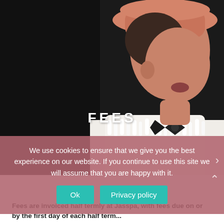[Figure (photo): A young performer wearing a pink/orange wide-brim hat, white furry vest, white shirt, and black bow tie, photographed against a dark background. The word FEES is overlaid in white bold letters across the middle of the photo.]
We use cookies to ensure that we give you the best experience on our website. If you continue to use this site we will assume that you are happy with it.
Fees are invoiced half termly at Jasspa, with fees due on or by the first day of each half term...